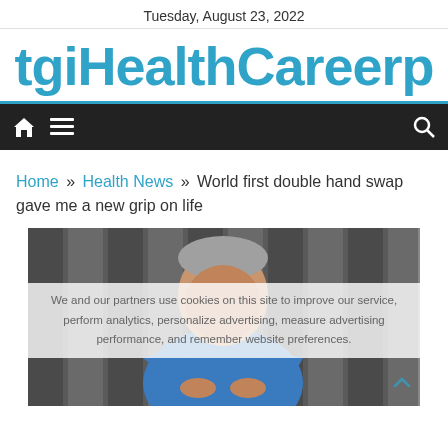Tuesday, August 23, 2022
tgiHealthCareerp
[Figure (other): Navigation bar with home icon, hamburger menu icon, and search icon on dark background]
Home » Health News » World first double hand swap gave me a new grip on life
[Figure (photo): Photo of a middle-aged man with grey hair wearing a blue polo shirt, sitting in front of a wooden fence with arms crossed, looking at camera]
We and our partners use cookies on this site to improve our service, perform analytics, personalize advertising, measure advertising performance, and remember website preferences.